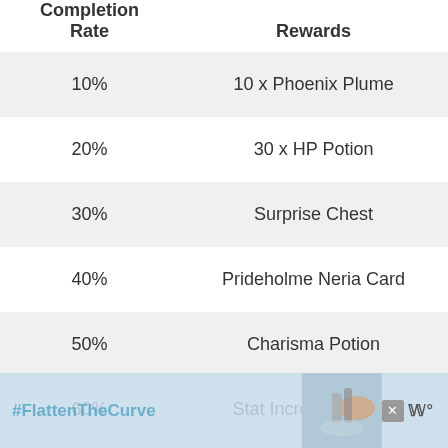| Completion Rate | Rewards |
| --- | --- |
| 10% | 10 x Phoenix Plume |
| 20% | 30 x HP Potion |
| 30% | Surprise Chest |
| 40% | Prideholme Neria Card |
| 50% | Charisma Potion |
| 60% | Stat Increase Potion |
[Figure (other): Advertisement banner with #FlattenTheCurve text and handwashing image]